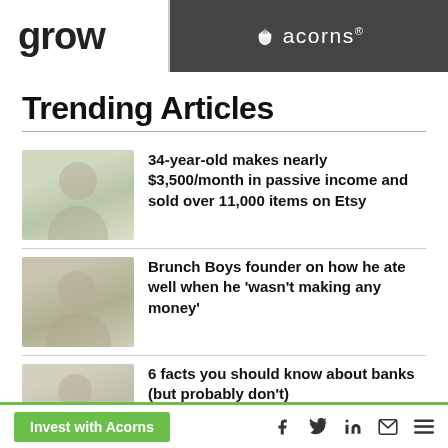grow | acorns®
Trending Articles
34-year-old makes nearly $3,500/month in passive income and sold over 11,000 items on Etsy
Brunch Boys founder on how he ate well when he 'wasn't making any money'
6 facts you should know about banks (but probably don't)
Invest with Acorns